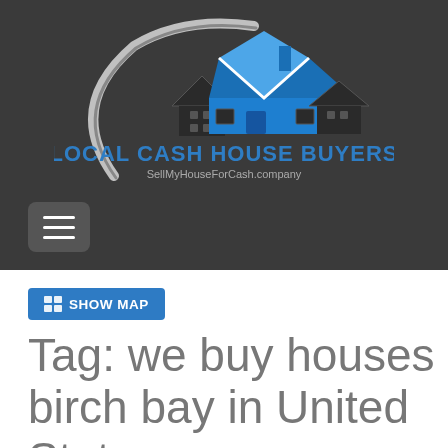[Figure (logo): Local Cash House Buyers logo with house icon, swoosh design, blue text 'LOCAL CASH HOUSE BUYERS' and subtitle 'SellMyHouseForCash.company' on dark background]
≡
🗺 SHOW MAP
Tag: we buy houses birch bay in United States